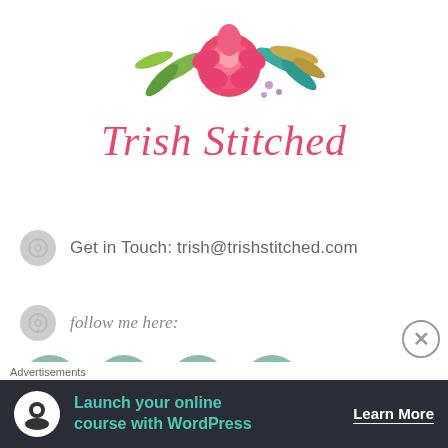[Figure (logo): Trish Stitched logo with watercolor floral arrangement (pink rose, green leaves, teal and gold foliage) above the cursive script brand name 'Trish Stitched' in pink]
Get in Touch: trish@trishstitched.com
follow me here:
[Figure (infographic): Four teal/mint circular social media icon buttons: plus/add, Facebook, Instagram camera, Pinterest]
Advertisements
[Figure (infographic): Advertisement banner: dark background with teal text 'Launch your online course with WordPress' and white 'Learn More' button, with a white circle logo on left]